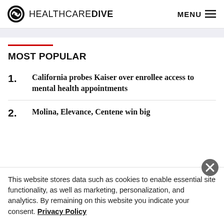HEALTHCARE DIVE  MENU
MOST POPULAR
1. California probes Kaiser over enrollee access to mental health appointments
2. Molina, Elevance, Centene win big
This website stores data such as cookies to enable essential site functionality, as well as marketing, personalization, and analytics. By remaining on this website you indicate your consent. Privacy Policy